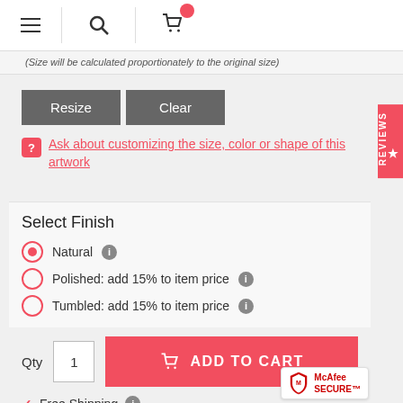Navigation bar with hamburger menu, search icon, and cart icon
(Size will be calculated proportionately to the original size)
Resize | Clear
Ask about customizing the size, color or shape of this artwork
Select Finish
Natural ℹ
Polished: add 15% to item price ℹ
Tumbled: add 15% to item price ℹ
Qty 1 | ADD TO CART
Free Shipping ℹ
[Figure (logo): McAfee SECURE badge/logo in bottom right corner]